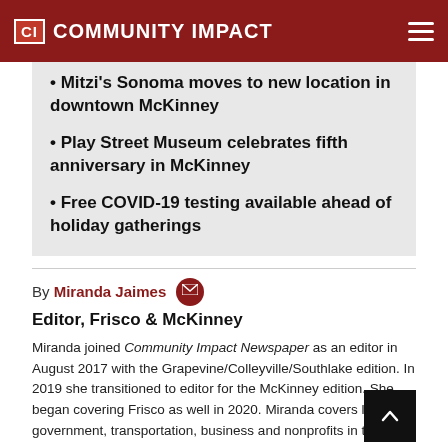CI COMMUNITY IMPACT
• Mitzi's Sonoma moves to new location in downtown McKinney
• Play Street Museum celebrates fifth anniversary in McKinney
• Free COVID-19 testing available ahead of holiday gatherings
By Miranda Jaimes  Editor, Frisco & McKinney
Miranda joined Community Impact Newspaper as an editor in August 2017 with the Grapevine/Colleyville/Southlake edition. In 2019 she transitioned to editor for the McKinney edition. She began covering Frisco as well in 2020. Miranda covers local government, transportation, business and nonprofits in these